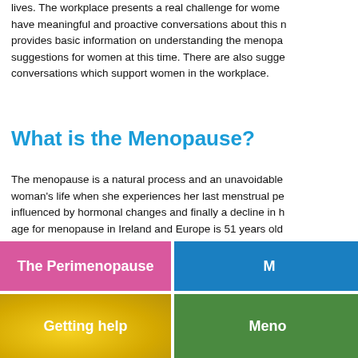lives. The workplace presents a real challenge for women. have meaningful and proactive conversations about this m provides basic information on understanding the menopa suggestions for women at this time. There are also sugge conversations which support women in the workplace.
What is the Menopause?
The menopause is a natural process and an unavoidable woman's life when she experiences her last menstrual pe influenced by hormonal changes and finally a decline in h age for menopause in Ireland and Europe is 51 years old no more periods and no more pregnancies. The actual de woman has not had a menstrual period for one whole yea
[Figure (infographic): Four colored boxes arranged in a 2x2 grid. Top-left: pink box labeled 'The Perimenopause'. Top-right: blue box partially visible labeled 'M...'. Bottom-left: yellow/gold box labeled 'Getting help'. Bottom-right: green box partially visible labeled 'Meno...']